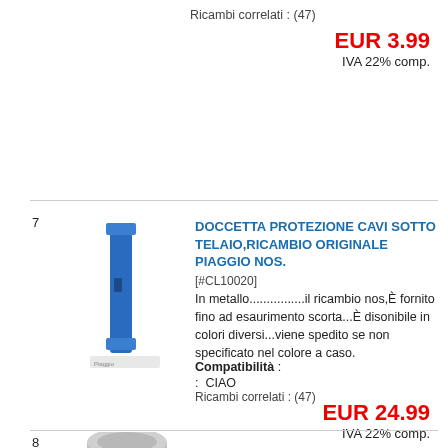Ricambi correlati : (47)
EUR 3.99
IVA 22% comp.
7
[Figure (photo): Blue metal cable protection bracket - Piaggio spare part]
DOCCETTA PROTEZIONE CAVI SOTTO TELAIO,RICAMBIO ORIGINALE PIAGGIO NOS.
[#CL10020]
In metallo................il ricambio nos,È fornito fino ad esaurimento scorta...È disonibile in colori diversi...viene spedito se non specificato nel colore a caso.
Compatibilità :
: CIAO
Ricambi correlati : (47)
EUR 24.99
IVA 22% comp.
8
[Figure (photo): Gray metal part - Piaggio spare part]